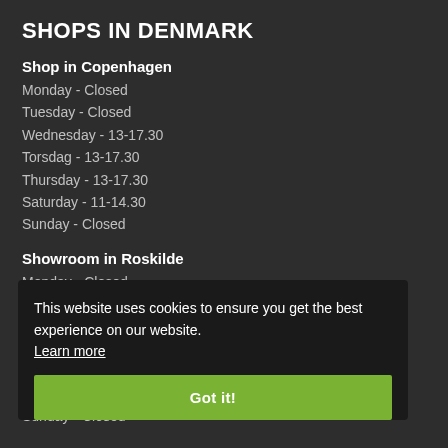SHOPS IN DENMARK
Shop in Copenhagen
Monday - Closed
Tuesday - Closed
Wednesday - 13-17.30
Torsdag - 13-17.30
Thursday - 13-17.30
Saturday - 11-14.30
Sunday - Closed
Showroom in Roskilde
Monday - Closed
Tuesday - 9-15
Wednesday - 11-17
Thursday - 11-17
Friday - 9-12
Saturday - Closed
Sunday - Closed
This website uses cookies to ensure you get the best experience on our website. Learn more
Got it!